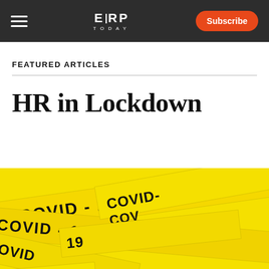ERP TODAY | Subscribe
FEATURED ARTICLES
HR in Lockdown
[Figure (photo): Yellow COVID-19 caution tape crossing diagonally with text 'COVID-19' printed in black on the tape, multiple overlapping strips]